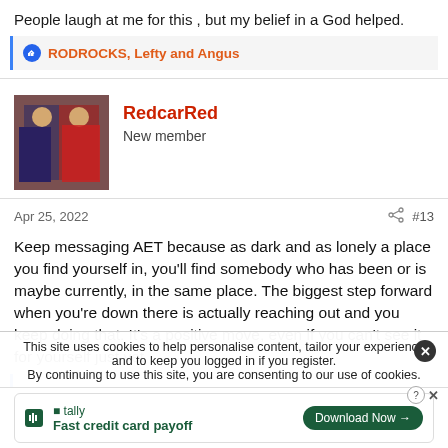People laugh at me for this , but my belief in a God helped.
RODROCKS, Lefty and Angus
[Figure (photo): Avatar photo of user RedcarRed showing two people in formal setting]
RedcarRed
New member
Apr 25, 2022
#13
Keep messaging AET because as dark and as lonely a place you find yourself in, you'll find somebody who has been or is maybe currently, in the same place. The biggest step forward when you're down there is actually reaching out and you keep doing that. It's a positive move, even if you can't see it for yourself just yet
This site uses cookies to help personalise content, tailor your experience and to keep you logged in if you register. By continuing to use this site, you are consenting to our use of cookies.
tally Fast credit card payoff Download Now